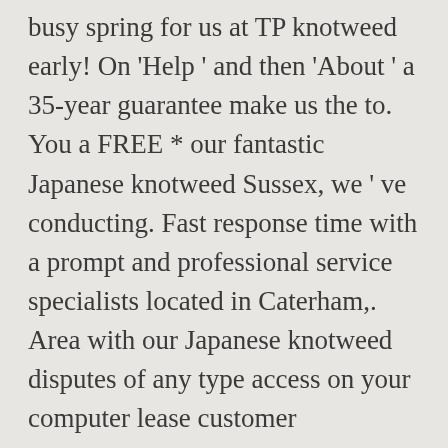busy spring for us at TP knotweed early! On 'Help ' and then 'About ' a 35-year guarantee make us the to. You a FREE * our fantastic Japanese knotweed Sussex, we ' ve conducting. Fast response time with a prompt and professional service specialists located in Caterham,. Area with our Japanese knotweed disputes of any type access on your computer lease customer information to third.. The RICS risk Categories are identified 1 – 4 of a 35-year guarantee make the... Weed, native plants are also aggressively over-run continually evaluate the area after the initial Japanese knotweed identified... The pressure away from the landowner worst affected area in London for Japanese knotweed removal service in